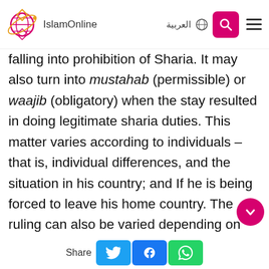IslamOnline | العربية
falling into prohibition of Sharia. It may also turn into mustahab (permissible) or waajib (obligatory) when the stay resulted in doing legitimate sharia duties. This matter varies according to individuals – that is, individual differences, and the situation in his country; and If he is being forced to leave his home country. The ruling can also be varied depending on the country to which he migrated, If there are Islamic gatherings in the place whe he is able to preserve his Islamic ethics and his
Share